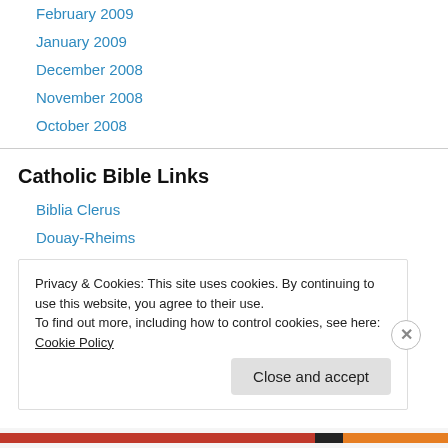February 2009
January 2009
December 2008
November 2008
October 2008
Catholic Bible Links
Biblia Clerus
Douay-Rheims
Latin Vulgate
New American Bible (USCCB)
Revised Std Version 5th Ed.
Privacy & Cookies: This site uses cookies. By continuing to use this website, you agree to their use. To find out more, including how to control cookies, see here: Cookie Policy
Close and accept